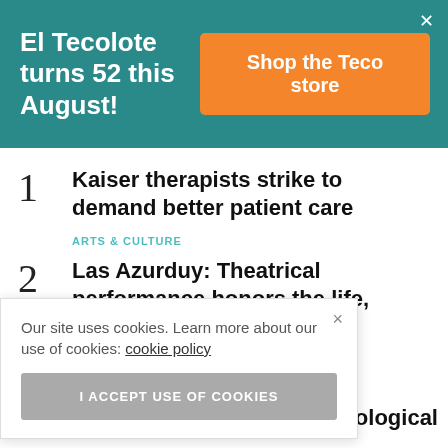El Tecolote turns 52 this August!
Shop the Teco store
1 Kaiser therapists strike to demand better patient care
ARTS & CULTURE
2 Las Azurduy: Theatrical performance honors the life, legacy of South American feminist freedom fighter
Our site uses cookies. Learn more about our use of cookies: cookie policy
I ACCEPT USE OF COOKIES